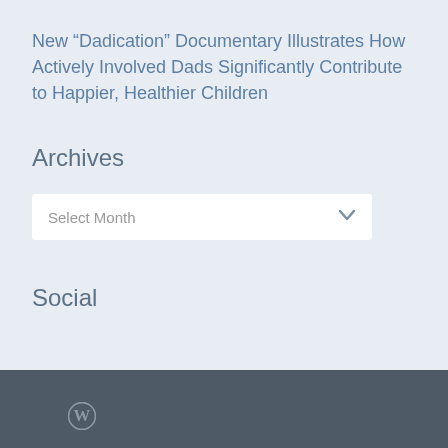New “Dadication” Documentary Illustrates How Actively Involved Dads Significantly Contribute to Happier, Healthier Children
Archives
Select Month
Social